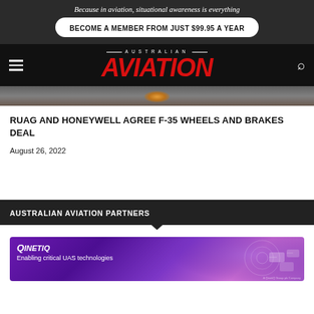Because in aviation, situational awareness is everything
BECOME A MEMBER FROM JUST $99.95 A YEAR
[Figure (logo): Australian Aviation magazine logo with red italic AVIATION text on black background, hamburger menu icon on left, search icon on right]
[Figure (photo): Dark grey/brown image strip with orange glow detail, bottom portion of aircraft or jet scene]
RUAG AND HONEYWELL AGREE F-35 WHEELS AND BRAKES DEAL
August 26, 2022
AUSTRALIAN AVIATION PARTNERS
[Figure (illustration): QinetiQ advertisement banner with purple gradient background, white QinetiQ logo and text 'Enabling critical UAS technologies', with drone imagery on right side]